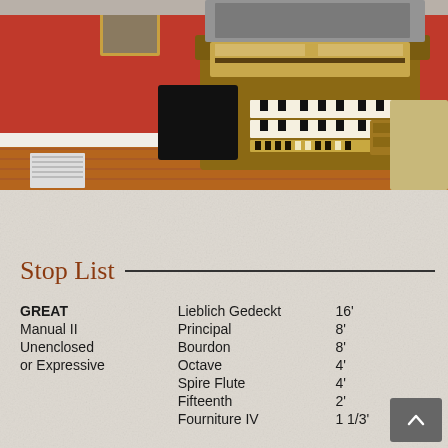[Figure (photo): Photograph of a pipe organ console with wooden keys, multiple manuals/keyboards, stop tabs, and expression pedals, situated in a room with red walls and wood flooring.]
Stop List
|  | Stop Name | Pitch |
| --- | --- | --- |
| GREAT | Lieblich Gedeckt | 16' |
| Manual II | Principal | 8' |
| Unenclosed | Bourdon | 8' |
| or Expressive | Octave | 4' |
|  | Spire Flute | 4' |
|  | Fifteenth | 2' |
|  | Fourniture IV | 1 1/3' |